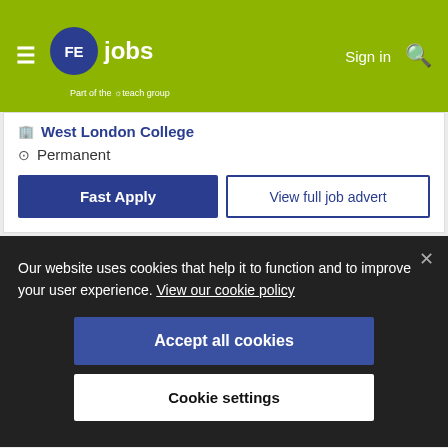FE jobs — Sign in
West London College
Permanent
Fast Apply
View full job advert
FAST APPLY
Save
Our website uses cookies that help it to function and to improve your user experience. View our cookie policy
Accept all cookies
Cookie settings